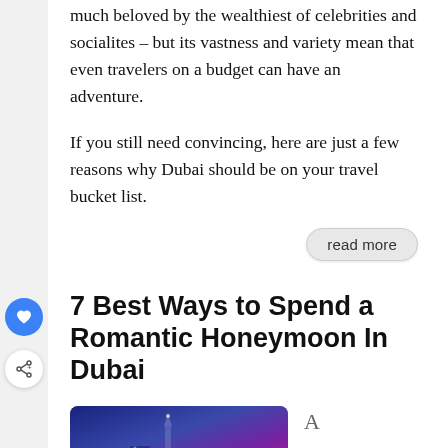much beloved by the wealthiest of celebrities and socialites – but its vastness and variety mean that even travelers on a budget can have an adventure.
If you still need convincing, here are just a few reasons why Dubai should be on your travel bucket list.
read more
7 Best Ways to Spend a Romantic Honeymoon In Dubai
[Figure (photo): Photo of a night cityscape with blue and purple hues, likely showing Dubai at night with lights]
A